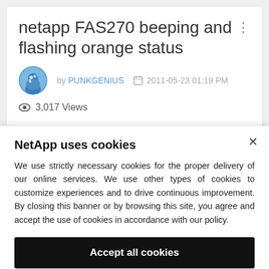netapp FAS270 beeping and flashing orange status
by PUNKGENIUS  2011-05-23 01:19 PM
3,017 Views
NetApp uses cookies
We use strictly necessary cookies for the proper delivery of our online services. We use other types of cookies to customize experiences and to drive continuous improvement. By closing this banner or by browsing this site, you agree and accept the use of cookies in accordance with our policy.
Accept all cookies
Cookie settings